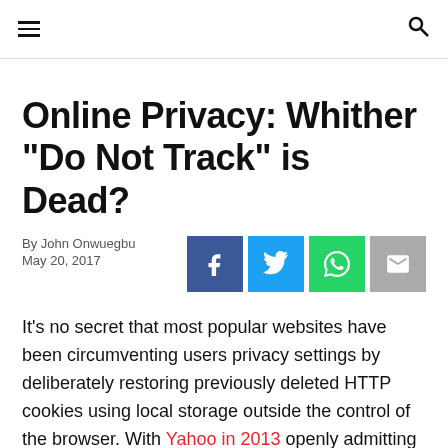≡  🔍
Online Privacy: Whither "Do Not Track" is Dead?
By John Onwuegbu
May 20, 2017
[Figure (infographic): Social share buttons: Facebook (dark blue), Twitter (light blue), WhatsApp (green), Email (grey)]
It's no secret that most popular websites have been circumventing users privacy settings by deliberately restoring previously deleted HTTP cookies using local storage outside the control of the browser. With Yahoo in 2013 openly admitting that it will no longer honor "Do Not